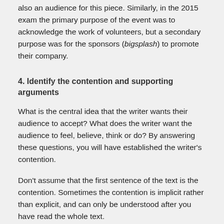also an audience for this piece. Similarly, in the 2015 exam the primary purpose of the event was to acknowledge the work of volunteers, but a secondary purpose was for the sponsors (bigsplash) to promote their company.
4. Identify the contention and supporting arguments
What is the central idea that the writer wants their audience to accept? What does the writer want the audience to feel, believe, think or do? By answering these questions, you will have established the writer’s contention.
Don’t assume that the first sentence of the text is the contention. Sometimes the contention is implicit rather than explicit, and can only be understood after you have read the whole text.